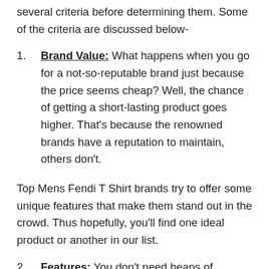several criteria before determining them. Some of the criteria are discussed below-
Brand Value: What happens when you go for a not-so-reputable brand just because the price seems cheap? Well, the chance of getting a short-lasting product goes higher. That’s because the renowned brands have a reputation to maintain, others don’t.
Top Mens Fendi T Shirt brands try to offer some unique features that make them stand out in the crowd. Thus hopefully, you’ll find one ideal product or another in our list.
Features: You don’t need heaps of features, but useful ones. We look at the features that